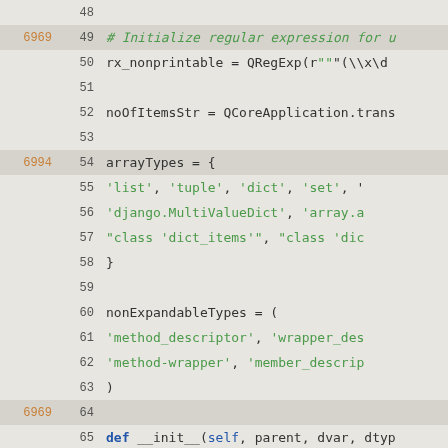[Figure (screenshot): Source code editor view showing Python code lines 48-77 with line numbers, coverage counts in orange on the left, and syntax-highlighted code on the right.]